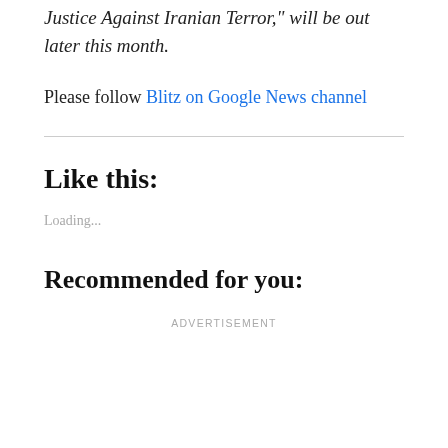Justice Against Iranian Terror," will be out later this month.
Please follow Blitz on Google News channel
Like this:
Loading...
Recommended for you:
ADVERTISEMENT